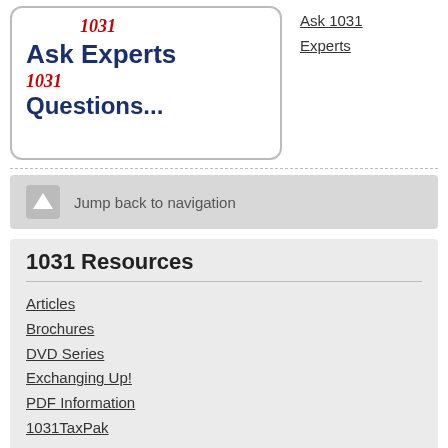[Figure (logo): Ask 1031 Experts logo with red handwritten-style 1031 annotations and dark blue text reading 'Ask Experts' and '1031 Questions...']
Ask 1031 Experts
Jump back to navigation
1031 Resources
Articles
Brochures
DVD Series
Exchanging Up!
PDF Information
1031TaxPak
Most Popular
Corrections